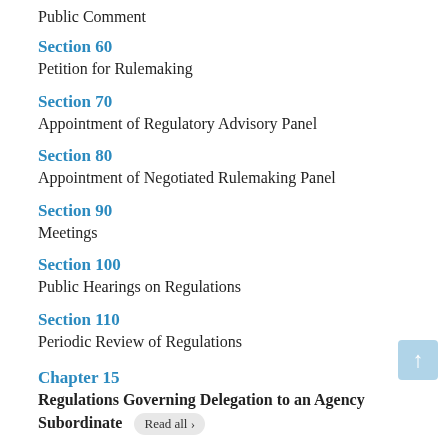Public Comment
Section 60
Petition for Rulemaking
Section 70
Appointment of Regulatory Advisory Panel
Section 80
Appointment of Negotiated Rulemaking Panel
Section 90
Meetings
Section 100
Public Hearings on Regulations
Section 110
Periodic Review of Regulations
Chapter 15
Regulations Governing Delegation to an Agency Subordinate
Section 10